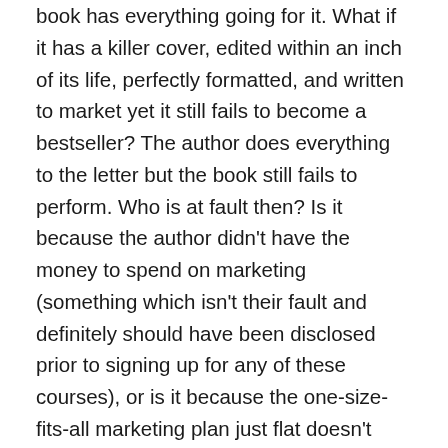book has everything going for it. What if it has a killer cover, edited within an inch of its life, perfectly formatted, and written to market yet it still fails to become a bestseller? The author does everything to the letter but the book still fails to perform. Who is at fault then? Is it because the author didn't have the money to spend on marketing (something which isn't their fault and definitely should have been disclosed prior to signing up for any of these courses), or is it because the one-size-fits-all marketing plan just flat doesn't work? Either way, it disproves every sales pitch used in order to get authors to sign up for their courses. You can't very well claim that it's just the course/advise/service that is earning an author $100K/year if they also have to sink $100K/year into various marketing avenues. When it comes down to it, any book with that kind of marketing dollars behind it will have a fairly decent ROI, as 50 Shades has proven time and